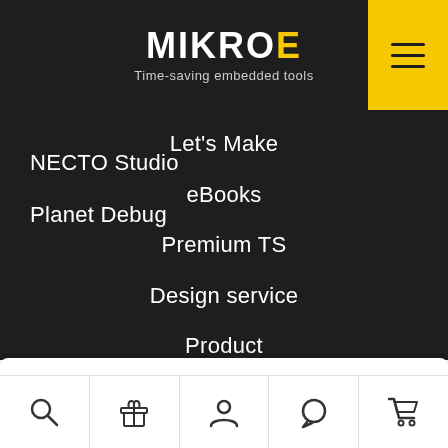[Figure (logo): MIKROE logo with tagline 'Time-saving embedded tools' on dark background]
Let's Make
NECTO Studio
eBooks
Planet Debug
Premium TS
Design service
Product Customization
Contract Manufacturing
By using our site you agree with our Privacy Policy.
[Figure (infographic): Bottom toolbar with search, gift, user, chat, and cart icons]